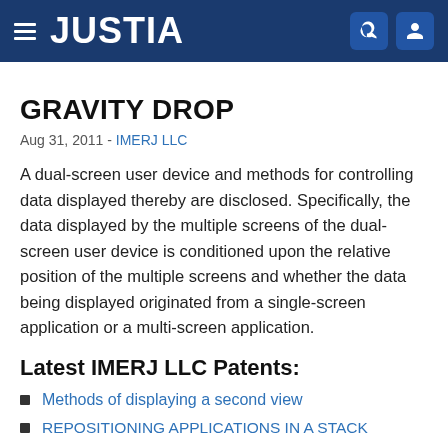JUSTIA
GRAVITY DROP
Aug 31, 2011 - IMERJ LLC
A dual-screen user device and methods for controlling data displayed thereby are disclosed. Specifically, the data displayed by the multiple screens of the dual-screen user device is conditioned upon the relative position of the multiple screens and whether the data being displayed originated from a single-screen application or a multi-screen application.
Latest IMERJ LLC Patents:
Methods of displaying a second view
REPOSITIONING APPLICATIONS IN A STACK
METHOD AND SYSTEM FOR ASSESSING RISK